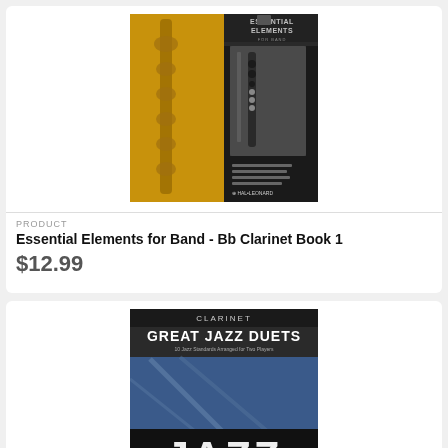[Figure (photo): Book cover of Essential Elements for Band - Bb Clarinet Book 1, showing a clarinet instrument on gold and black background with Hal Leonard publisher logo]
PRODUCT
Essential Elements for Band - Bb Clarinet Book 1
$12.99
[Figure (photo): Book cover of Clarinet Great Jazz Duets, showing clarinet instruments on blue background with large JAZZ text]